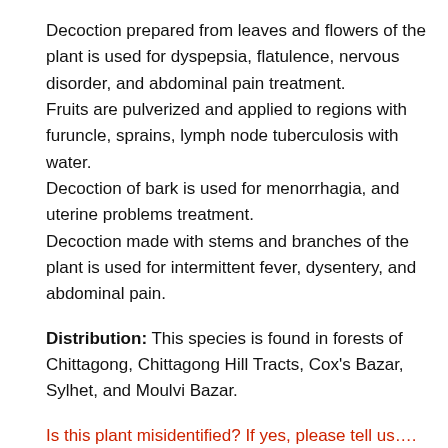Decoction prepared from leaves and flowers of the plant is used for dyspepsia, flatulence, nervous disorder, and abdominal pain treatment.
Fruits are pulverized and applied to regions with furuncle, sprains, lymph node tuberculosis with water.
Decoction of bark is used for menorrhagia, and uterine problems treatment.
Decoction made with stems and branches of the plant is used for intermittent fever, dysentery, and abdominal pain.
Distribution: This species is found in forests of Chittagong, Chittagong Hill Tracts, Cox’s Bazar, Sylhet, and Moulvi Bazar.
Is this plant misidentified? If yes, please tell us….